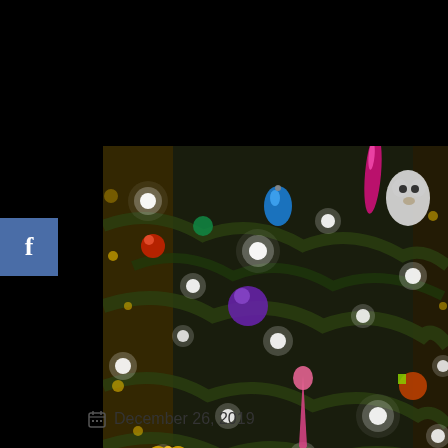[Figure (photo): Close-up photograph of a decorated Christmas tree with colorful ornaments, twinkling white lights, and gold glitter bokeh effect. Visible ornaments include a blue teardrop, pink/magenta elongated ornament, white owl or bird figure, and various colorful decorations among dark green pine branches.]
December 26, 2019